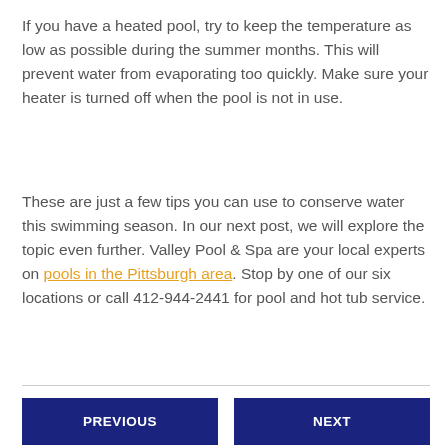If you have a heated pool, try to keep the temperature as low as possible during the summer months. This will prevent water from evaporating too quickly. Make sure your heater is turned off when the pool is not in use.
These are just a few tips you can use to conserve water this swimming season. In our next post, we will explore the topic even further. Valley Pool & Spa are your local experts on pools in the Pittsburgh area. Stop by one of our six locations or call 412-944-2441 for pool and hot tub service.
PREVIOUS
NEXT